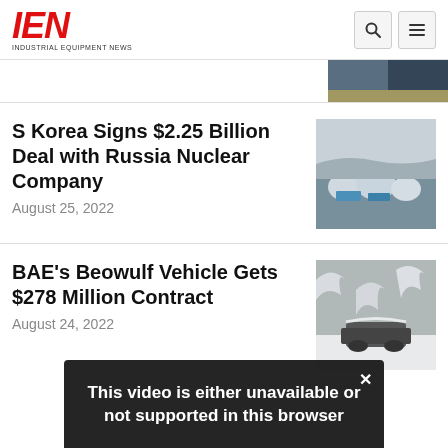IEN - Industrial Equipment News
[Figure (photo): Partial view of a news article thumbnail at top right, partially visible]
S Korea Signs $2.25 Billion Deal with Russia Nuclear Company
August 25, 2022
[Figure (photo): Photo of nuclear facility structures in a cold landscape]
BAE's Beowulf Vehicle Gets $278 Million Contract
August 24, 2022
[Figure (photo): Aerial photo of a vehicle or equipment covered in snow in a winter forest]
This video is either unavailable or not supported in this browser